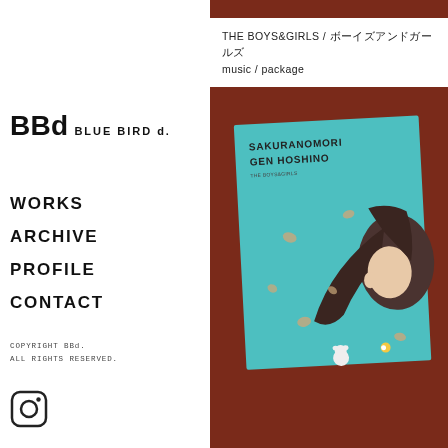THE BOYS&GIRLS / ボーイズアンドガールズ music / package
BBd BLUE BIRD d.
WORKS
ARCHIVE
PROFILE
CONTACT
COPYRIGHT BBd. ALL RIGHTS RESERVED.
[Figure (illustration): Instagram icon (square with circle and dot outline)]
[Figure (illustration): Album cover artwork: dark reddish-brown background with a turquoise/teal album cover showing text 'SAKURANOMORI GEN HOSHINO' and an illustrated anime-style girl with dark hair, flowers/petals floating around her. The album cover is tilted at an angle overlapping a reddish-brown background panel.]